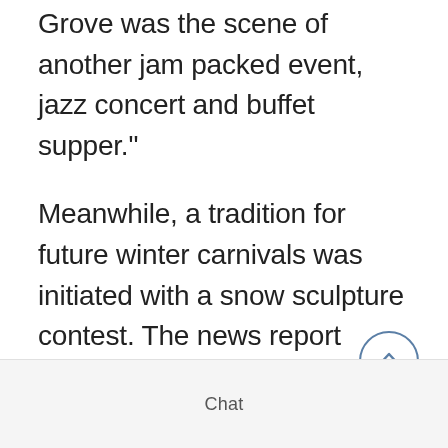Grove was the scene of another jam packed event, jazz concert and buffet supper."
Meanwhile, a tradition for future winter carnivals was initiated with a snow sculpture contest. The news report continued: "Another outstanding feature of the carnival was the snow sculpture with some 15 pieces entered. Winner of the top prize was a sculpture of a book in Pioneer Park, entered by Jim Tongue of The Cupboard.
Chat